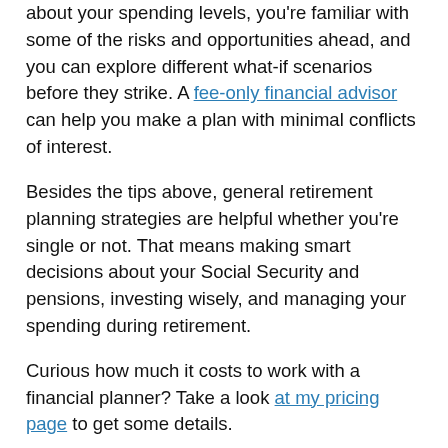about your spending levels, you're familiar with some of the risks and opportunities ahead, and you can explore different what-if scenarios before they strike. A fee-only financial advisor can help you make a plan with minimal conflicts of interest.
Besides the tips above, general retirement planning strategies are helpful whether you're single or not. That means making smart decisions about your Social Security and pensions, investing wisely, and managing your spending during retirement.
Curious how much it costs to work with a financial planner? Take a look at my pricing page to get some details.
Free Downloads
Crucial big-picture retirement concepts illustrated